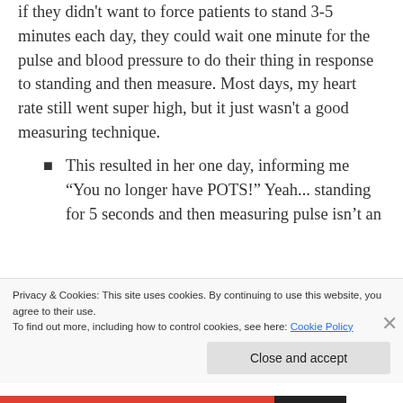if they didn't want to force patients to stand 3-5 minutes each day, they could wait one minute for the pulse and blood pressure to do their thing in response to standing and then measure. Most days, my heart rate still went super high, but it just wasn't a good measuring technique.
This resulted in her one day, informing me “You no longer have POTS!” Yeah... standing for 5 seconds and then measuring pulse isn’t an
Privacy & Cookies: This site uses cookies. By continuing to use this website, you agree to their use.
To find out more, including how to control cookies, see here: Cookie Policy
Close and accept